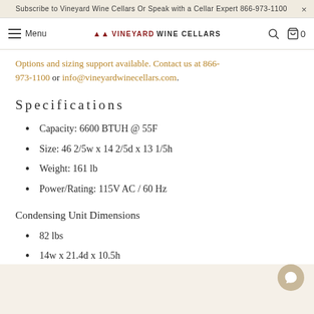Subscribe to Vineyard Wine Cellars Or Speak with a Cellar Expert 866-973-1100
Menu | VINEYARD WINE CELLARS | 0
Options and sizing support available. Contact us at 866-973-1100 or info@vineyardwinecellars.com.
Specifications
Capacity: 6600 BTUH @ 55F
Size: 46 2/5w x 14 2/5d x 13 1/5h
Weight: 161 lb
Power/Rating: 115V AC / 60 Hz
Condensing Unit Dimensions
82 lbs
14w x 21.4d x 10.5h